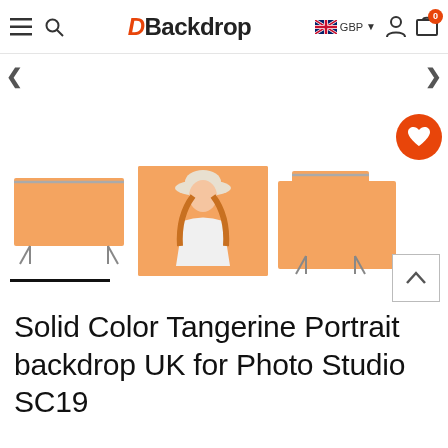DBackdrop — GBP navigation bar with menu, search, logo, currency, user, cart (0)
[Figure (screenshot): Product thumbnail strip showing four orange/tangerine studio backdrop thumbnails: (1) landscape backdrop on stand, (2) woman in white dress and hat against orange backdrop, (3) plain orange rectangle, (4) portrait backdrop on stand. First thumbnail is selected (black underline indicator). A red heart/wishlist button is on the right. A scroll-to-top button with an up caret is at bottom right.]
Solid Color Tangerine Portrait backdrop UK for Photo Studio SC19